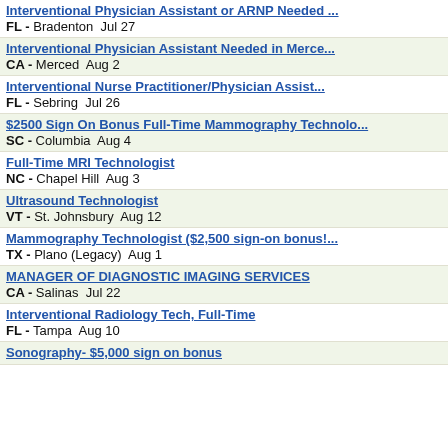Interventional Physician Assistant or ARNP Needed ... FL - Bradenton Jul 27
Interventional Physician Assistant Needed in Merce... CA - Merced Aug 2
Interventional Nurse Practitioner/Physician Assist... FL - Sebring Jul 26
$2500 Sign On Bonus Full-Time Mammography Technolo... SC - Columbia Aug 4
Full-Time MRI Technologist NC - Chapel Hill Aug 3
Ultrasound Technologist VT - St. Johnsbury Aug 12
Mammography Technologist ($2,500 sign-on bonus!... TX - Plano (Legacy) Aug 1
MANAGER OF DIAGNOSTIC IMAGING SERVICES CA - Salinas Jul 22
Interventional Radiology Tech, Full-Time FL - Tampa Aug 10
Sonography- $5,000 sign on bonus